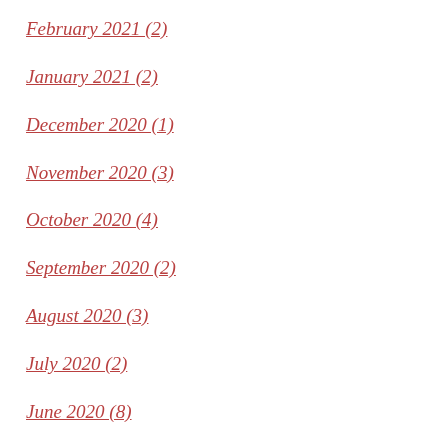February 2021 (2)
January 2021 (2)
December 2020 (1)
November 2020 (3)
October 2020 (4)
September 2020 (2)
August 2020 (3)
July 2020 (2)
June 2020 (8)
May 2020 (4)